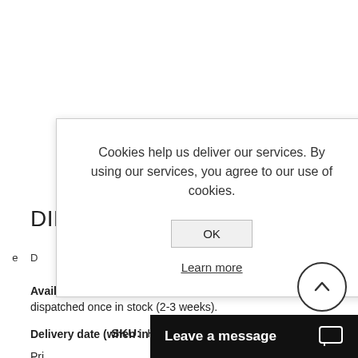DIN ... ight
D ... e
Availability: Out of stock - on backorder and will be dispatched once in stock (2-3 weeks).
SKU: H1252010-050800
Delivery date (when in stock): 1-2 days
[Figure (screenshot): Cookie consent dialog box with text 'Cookies help us deliver our services. By using our services, you agree to our use of cookies.' with OK button and Learn more link]
Leave a message